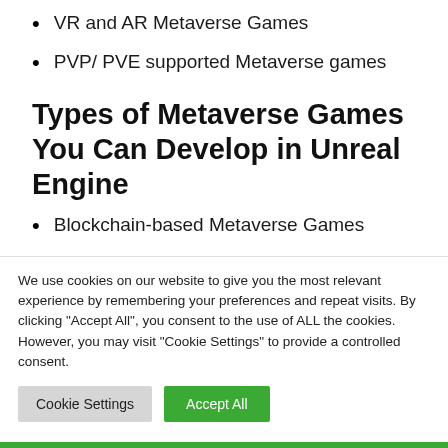VR and AR Metaverse Games
PVP/ PVE supported Metaverse games
Types of Metaverse Games You Can Develop in Unreal Engine
Blockchain-based Metaverse Games
AAA Metaverse Games
Decentralized Metaverse Games
We use cookies on our website to give you the most relevant experience by remembering your preferences and repeat visits. By clicking “Accept All”, you consent to the use of ALL the cookies. However, you may visit "Cookie Settings" to provide a controlled consent.